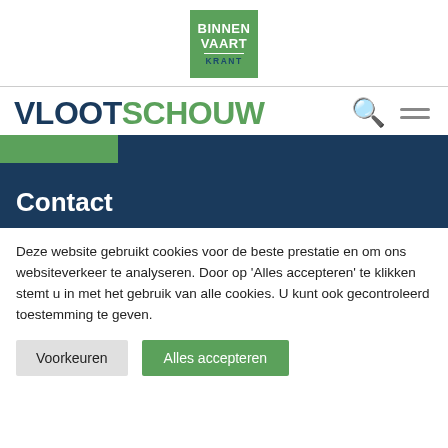[Figure (logo): Binnenvaart Krant logo: green square with white text BINNEN VAART and dark blue KRANT]
VLOOTSCHOUW
Contact
Deze website gebruikt cookies voor de beste prestatie en om ons websiteverkeer te analyseren. Door op 'Alles accepteren' te klikken stemt u in met het gebruik van alle cookies. U kunt ook gecontroleerd toestemming te geven.
Voorkeuren
Alles accepteren